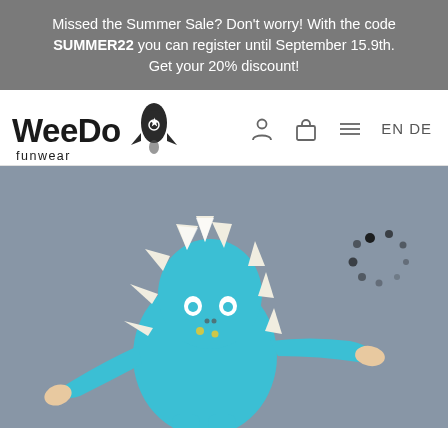Missed the Summer Sale? Don't worry! With the code SUMMER22 you can register until September 15.9th. Get your 20% discount!
[Figure (logo): WeeDo funwear logo with rocket icon]
[Figure (photo): Child wearing a blue dinosaur/dragon onesie costume with white spikes, posing with arms spread on a grey-blue background. A loading spinner graphic (dots in a circle pattern) is visible in the upper right area of the photo.]